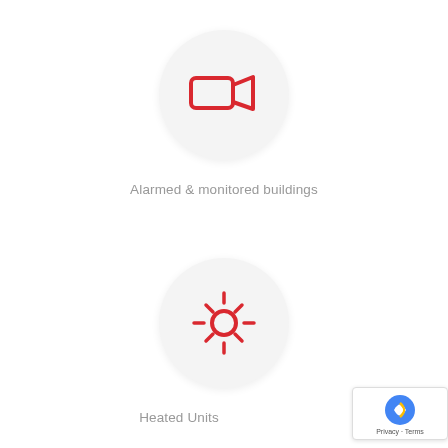[Figure (illustration): Red video camera icon inside a light gray circle, representing alarmed and monitored buildings]
Alarmed & monitored buildings
[Figure (illustration): Red sun/heat icon inside a light gray circle, representing heated units]
Heated Units